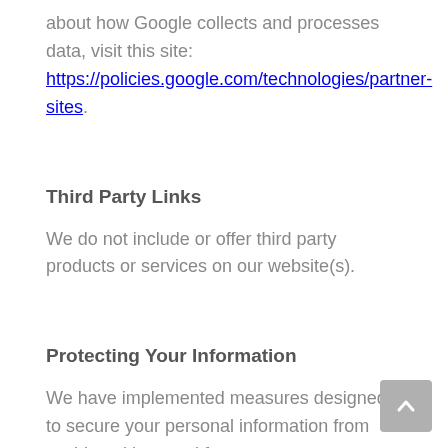about how Google collects and processes data, visit this site: https://policies.google.com/technologies/partner-sites.
Third Party Links
We do not include or offer third party products or services on our website(s).
Protecting Your Information
We have implemented measures designed to secure your personal information from accidental loss and from